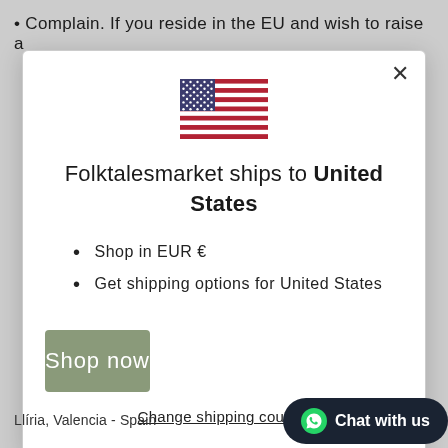Complain. If you reside in the EU and wish to raise a
[Figure (screenshot): Modal dialog showing US flag with text 'Folktalesmarket ships to United States', bullet points 'Shop in EUR €' and 'Get shipping options for United States', a 'Shop now' button, and a 'Change shipping country' link]
Llíria, Valencia - Spain
Chat with us